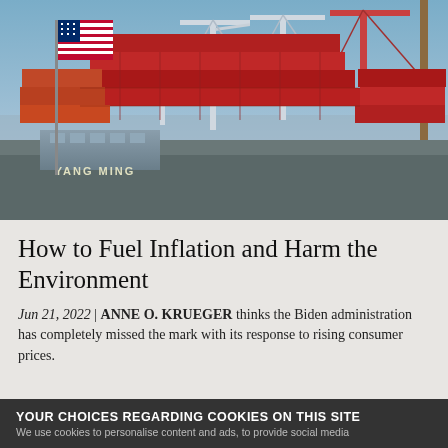[Figure (photo): Aerial/ground-level view of a busy container port with an American flag in the foreground on the left, large red and orange shipping containers stacked high, and tall white and red port cranes in the background under a blue sky.]
How to Fuel Inflation and Harm the Environment
Jun 21, 2022 | ANNE O. KRUEGER thinks the Biden administration has completely missed the mark with its response to rising consumer prices.
YOUR CHOICES REGARDING COOKIES ON THIS SITE